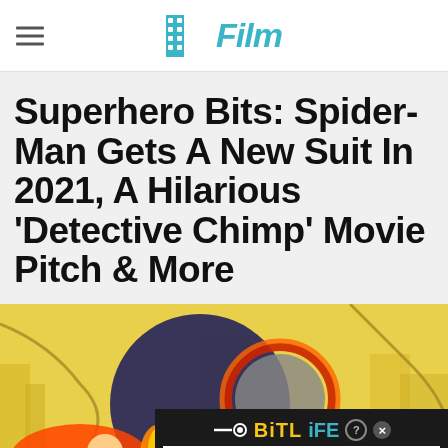/Film
Superhero Bits: Spider-Man Gets A New Suit In 2021, A Hilarious 'Detective Chimp' Movie Pitch & More
[Figure (illustration): Comic book style illustration of Spider-Man in a dark suit against a yellow city background, with chains visible. Partially visible ad banner at bottom showing BitLife advertisement with 'FAIL' text and 'START A NEW LIFE' tagline.]